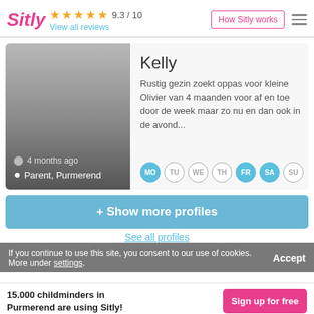Sitly ★★★★½ 9.3 / 10  View all reviews   How Sitly works
[Figure (photo): Profile photo card for Kelly - gradient grey photo placeholder with '4 months ago' and 'Parent, Purmerend' overlaid at bottom left]
Kelly
Rustig gezin zoekt oppas voor kleine Olivier van 4 maanden voor af en toe door de week maar zo nu en dan ook in de avond...
MO TU WE TH FR SA SU
+ Show more profiles
See all profiles
If you continue to use this site, you consent to our use of cookies. More under settings.
Childminding job Purmerend
15.000 childminders in Purmerend are using Sitly!
Sign up for free